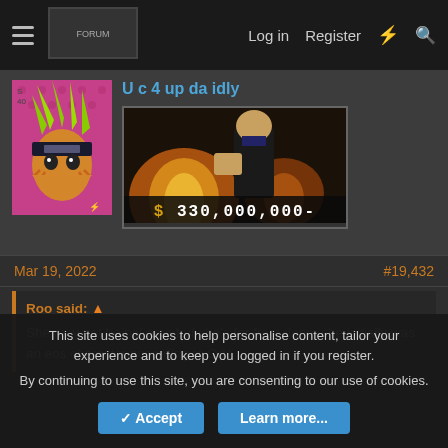Navigation bar with hamburger menu, logo, Log in, Register, and search icons
U c 4 up da idly
[Figure (illustration): Anime character avatar with green spiky hair and face markings on pink background]
[Figure (illustration): Bounty poster showing anime character with fire background and price $330,000,000-]
Mar 19, 2022
#19,432
Roo said: ↑
She may not be nakama but she's far from done, she initially was an eos character according to Oda
This site uses cookies to help personalise content, tailor your experience and to keep you logged in if you register.
By continuing to use this site, you are consenting to our use of cookies.